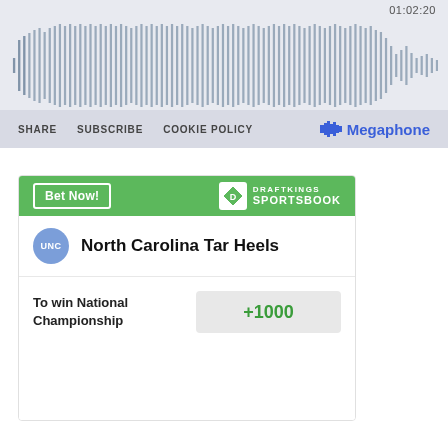[Figure (other): Audio player waveform showing a podcast/audio episode with timestamp 01:02:20, with controls for SHARE, SUBSCRIBE, COOKIE POLICY and Megaphone branding]
[Figure (other): DraftKings Sportsbook betting widget showing North Carolina Tar Heels with odds +1000 to win National Championship]
To win National Championship
+1000